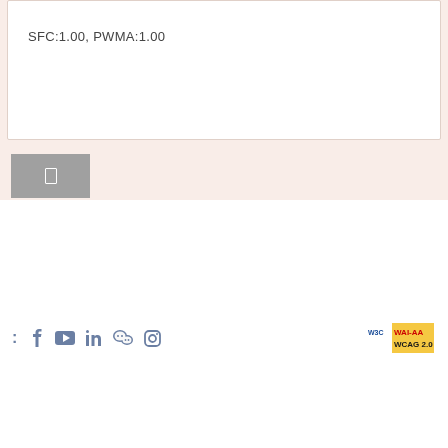SFC:1.00, PWMA:1.00
[Figure (other): Small grey thumbnail image placeholder with a document/file icon]
: [Facebook] [YouTube] [LinkedIn] [WeChat] [Instagram] — WAI-AA WCAG 2.0 badge